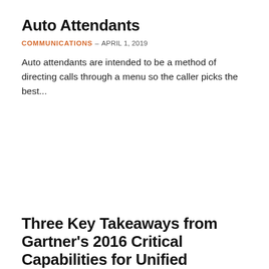Auto Attendants
COMMUNICATIONS – APRIL 1, 2019
Auto attendants are intended to be a method of directing calls through a menu so the caller picks the best...
Three Key Takeaways from Gartner's 2016 Critical Capabilities for Unified